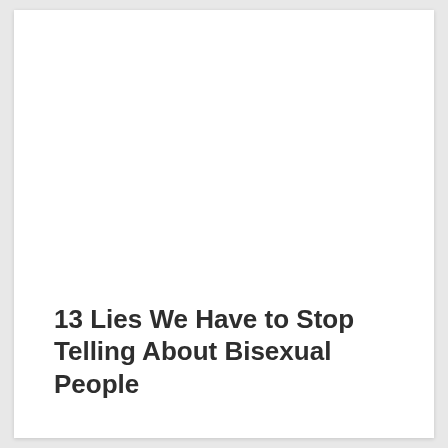13 Lies We Have to Stop Telling About Bisexual People